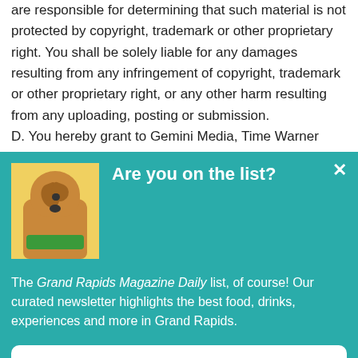are responsible for determining that such material is not protected by copyright, trademark or other proprietary right. You shall be solely liable for any damages resulting from any infringement of copyright, trademark or other proprietary right, or any other harm resulting from any uploading, posting or submission. D. You hereby grant to Gemini Media, Time Warner
[Figure (screenshot): Teal modal overlay with a dog wearing a green scarf photo, bold white title 'Are you on the list?', text about Grand Rapids Magazine Daily newsletter, and a white 'Add me to the list!' button.]